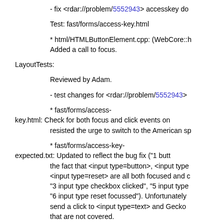- fix <rdar://problem/5552943> accesskey do
Test: fast/forms/access-key.html
* html/HTMLButtonElement.cpp: (WebCore::h Added a call to focus.
LayoutTests:
Reviewed by Adam.
- test changes for <rdar://problem/5552943>
* fast/forms/access-key.html: Check for both focus and click events on resisted the urge to switch to the American sp
* fast/forms/access-key-expected.txt: Updated to reflect the bug fix ("1 butt the fact that <input type=button>, <input type <input type=reset> are all both focused and c "3 input type checkbox clicked", "5 input type "6 input type reset focussed"). Unfortunately send a click to <input type=text> and Gecko that are not covered.
git-svn-id: https://svn.webkit.org/repository/webkit/trunk@ cd09-0410-ab3c-d52691b4dbfc